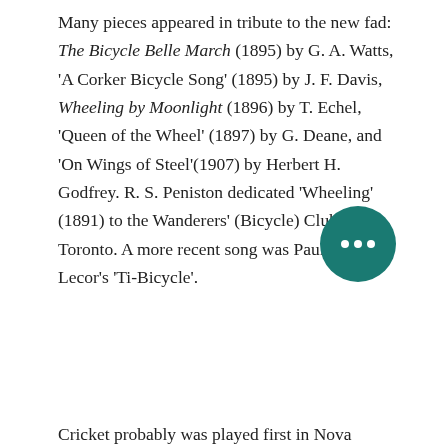Many pieces appeared in tribute to the new fad: The Bicycle Belle March (1895) by G. A. Watts, 'A Corker Bicycle Song' (1895) by J. F. Davis, Wheeling by Moonlight (1896) by T. Echel, 'Queen of the Wheel' (1897) by G. Deane, and 'On Wings of Steel'(1907) by Herbert H. Godfrey. R. S. Peniston dedicated 'Wheeling' (1891) to the Wanderers' (Bicycle) Club of Toronto. A more recent song was Paul (Tex) Lecor's 'Ti-Bicycle'.
[Figure (other): A teal circular floating action button with three white dots (ellipsis) in the center]
Cricket probably was played first in Nova